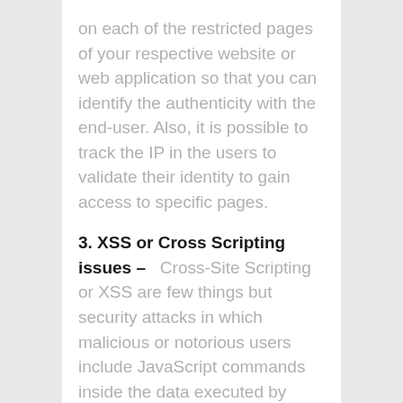on each of the restricted pages of your respective website or web application so that you can identify the authenticity with the end-user. Also, it is possible to track the IP in the users to validate their identity to gain access to specific pages.
3. XSS or Cross Scripting issues –
Cross-Site Scripting or XSS are few things but security attacks in which malicious or notorious users include JavaScript commands inside the data executed by